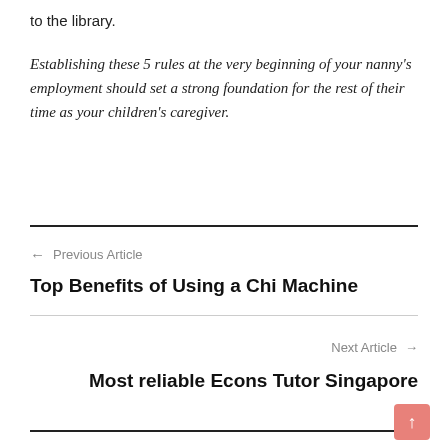to the library.
Establishing these 5 rules at the very beginning of your nanny's employment should set a strong foundation for the rest of their time as your children's caregiver.
← Previous Article
Top Benefits of Using a Chi Machine
Next Article →
Most reliable Econs Tutor Singapore